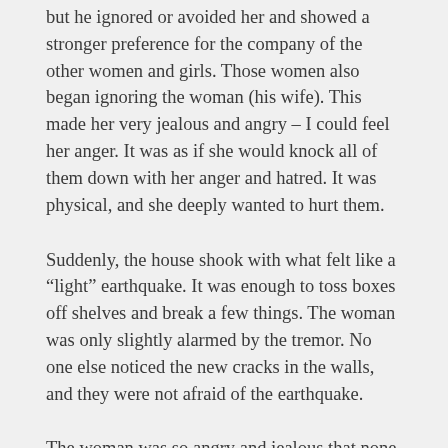but he ignored or avoided her and showed a stronger preference for the company of the other women and girls. Those women also began ignoring the woman (his wife). This made her very jealous and angry – I could feel her anger. It was as if she would knock all of them down with her anger and hatred. It was physical, and she deeply wanted to hurt them.
Suddenly, the house shook with what felt like a “light” earthquake. It was enough to toss boxes off shelves and break a few things. The woman was only slightly alarmed by the tremor. No one else noticed the new cracks in the walls, and they were not afraid of the earthquake.
The woman was so angry and jealous that none of her family members wanted to be near her. Her husband and a group of women and girls left the house to do something else (it felt as if it would be something ugly and impure). The woman was not aware of their departure. When she discovered they’d left her behind, she became angrier in her hurt. She was used to